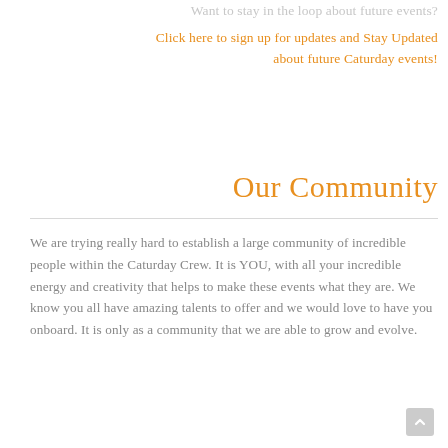Want to stay in the loop about future events?
Click here to sign up for updates and Stay Updated about future Caturday events!
Our Community
We are trying really hard to establish a large community of incredible people within the Caturday Crew. It is YOU, with all your incredible energy and creativity that helps to make these events what they are. We know you all have amazing talents to offer and we would love to have you onboard. It is only as a community that we are able to grow and evolve.